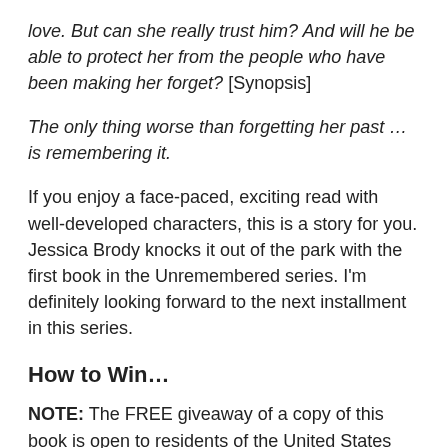love. But can she really trust him? And will he be able to protect her from the people who have been making her forget? [Synopsis]
The only thing worse than forgetting her past … is remembering it.
If you enjoy a face-paced, exciting read with well-developed characters, this is a story for you. Jessica Brody knocks it out of the park with the first book in the Unremembered series. I'm definitely looking forward to the next installment in this series.
How to Win…
NOTE: The FREE giveaway of a copy of this book is open to residents of the United States only, due to shipping